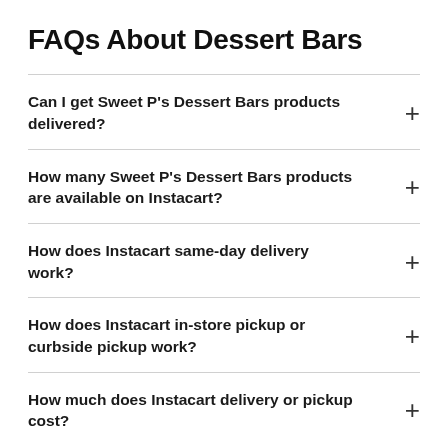FAQs About Dessert Bars
Can I get Sweet P's Dessert Bars products delivered?
How many Sweet P's Dessert Bars products are available on Instacart?
How does Instacart same-day delivery work?
How does Instacart in-store pickup or curbside pickup work?
How much does Instacart delivery or pickup cost?